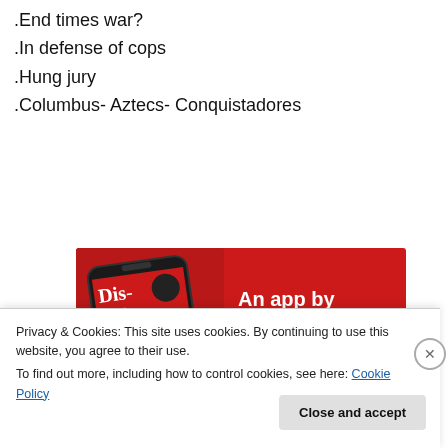.End times war?
.In defense of cops
.Hung jury
.Columbus- Aztecs- Conquistadores
[Figure (screenshot): Red advertisement banner for a podcast app showing a smartphone with 'Dis-tri-bu-ted' podcast, headline 'An app by listeners, for listeners.' with a 'Download now' button]
Privacy & Cookies: This site uses cookies. By continuing to use this website, you agree to their use.
To find out more, including how to control cookies, see here: Cookie Policy
Close and accept